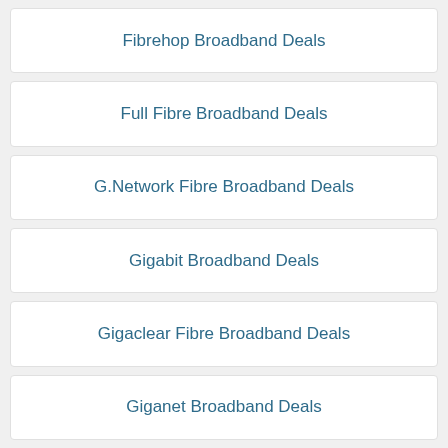Fibrehop Broadband Deals
Full Fibre Broadband Deals
G.Network Fibre Broadband Deals
Gigabit Broadband Deals
Gigaclear Fibre Broadband Deals
Giganet Broadband Deals